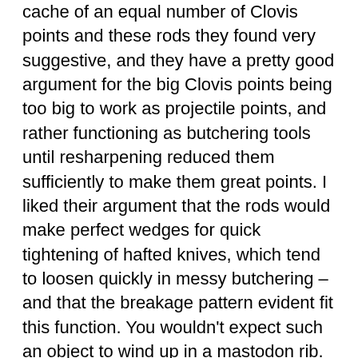cache of an equal number of Clovis points and these rods they found very suggestive, and they have a pretty good argument for the big Clovis points being too big to work as projectile points, and rather functioning as butchering tools until resharpening reduced them sufficiently to make them great points. I liked their argument that the rods would make perfect wedges for quick tightening of hafted knives, which tend to loosen quickly in messy butchering – and that the breakage pattern evident fit this function. You wouldn't expect such an object to wind up in a mastodon rib.
Just last week we had a dentalium shell driven deeply into a human humerus. At first glance, it